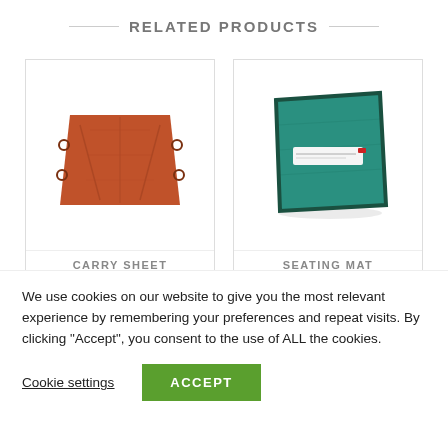RELATED PRODUCTS
[Figure (photo): Orange carry sheet with handles on the sides, laid flat]
CARRY SHEET
[Figure (photo): Green seating mat folded/stored, shown at an angle with a label on the front]
SEATING MAT
We use cookies on our website to give you the most relevant experience by remembering your preferences and repeat visits. By clicking “Accept”, you consent to the use of ALL the cookies.
Cookie settings
ACCEPT